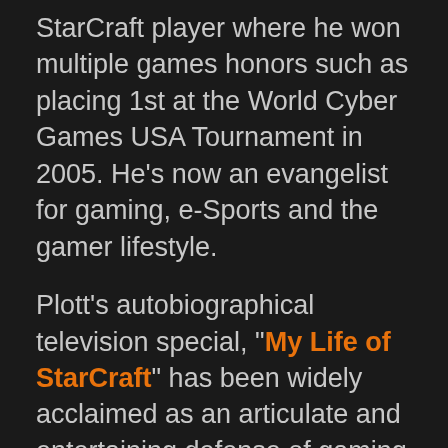StarCraft player where he won multiple games honors such as placing 1st at the World Cyber Games USA Tournament in 2005. He's now an evangelist for gaming, e-Sports and the gamer lifestyle.
Plott's autobiographical television special, "My Life of StarCraft" has been widely acclaimed as an articulate and entertaining defense of gaming and has become a YouTube sensation, with more than 3.9 million views to date.
In 2010, Plott was named PC Gamer's "Gamer of the Year." In 2011 he was honored on the Forbes "30 Under 30" list for entertainment, and again in 2014 for games. In 2013 The Guardian called him "The biggest star in esports" and in 2016 the Golden Joysticks named him "Gaming Personality of the Year. Day[9]TV has been featured on NPR's "All Things Considered," and Chicago Public Radio as well as The Economist, PCWorld, Kotaku and Business Insider.